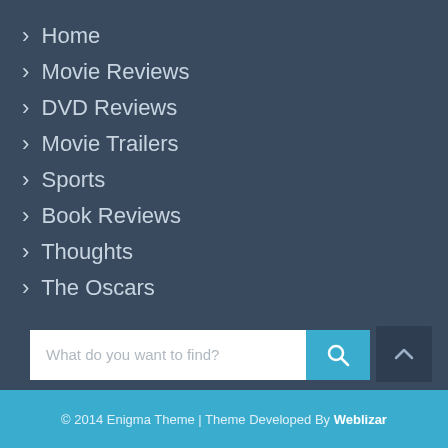Home
Movie Reviews
DVD Reviews
Movie Trailers
Sports
Book Reviews
Thoughts
The Oscars
[Figure (other): Search bar with placeholder text 'What do you want to find?' and a blue search button with magnifying glass icon]
© 2014 Enigma Theme | Theme Developed By Weblizar